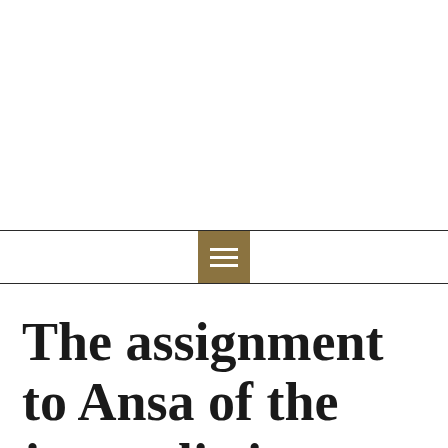menu icon / navigation bar with hamburger icon
The assignment to Ansa of the journalistic information service of